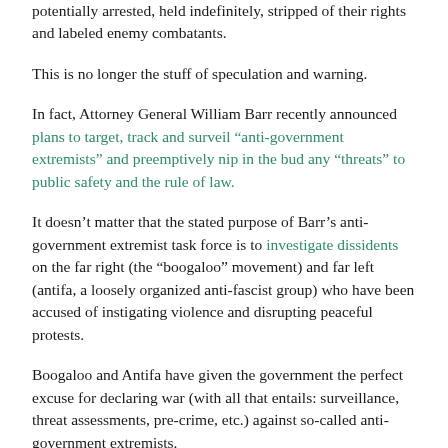potentially arrested, held indefinitely, stripped of their rights and labeled enemy combatants.
This is no longer the stuff of speculation and warning.
In fact, Attorney General William Barr recently announced plans to target, track and surveil “anti-government extremists” and preemptively nip in the bud any “threats” to  public safety and the rule of law.
It doesn’t matter that the stated purpose of Barr’s anti-government extremist task force is to investigate dissidents on the far right (the “boogaloo” movement) and far left (antifa, a loosely organized anti-fascist group) who have been accused of instigating violence and disrupting peaceful protests.
Boogaloo and Antifa have given the government the perfect excuse for declaring war (with all that entails: surveillance, threat assessments, pre-crime, etc.) against so-called anti-government extremists.